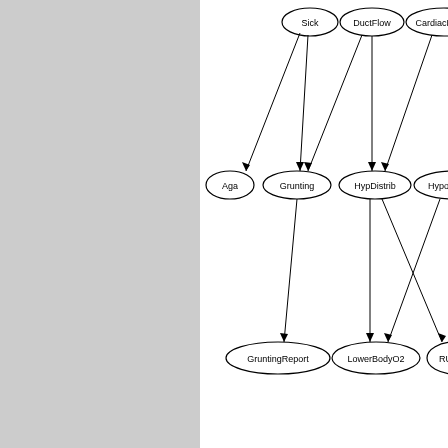[Figure (network-graph): Partial Bayesian network diagram showing nodes: Sick, DuctFlow, CardiacMixing, LungParench (top row, partially visible); Aga, Grunting, HypDistrib, HypoxiaInO2, CO2 (middle row); GruntingReport, LowerBodyO2, RUQO2, CO2Report (bottom row). Directed edges connect the upper nodes to the middle and lower nodes with arrows.]